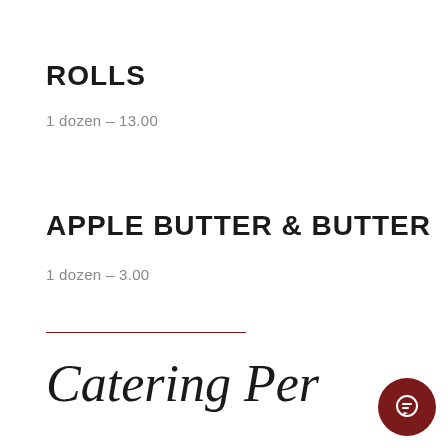ROLLS
1 dozen – 13.00
APPLE BUTTER & BUTTER
1 dozen – 3.00
[Figure (other): Chat popup with restaurant logo (script R's), close button (×), and message: Got any questions? I'm happy to help.]
Catering Per